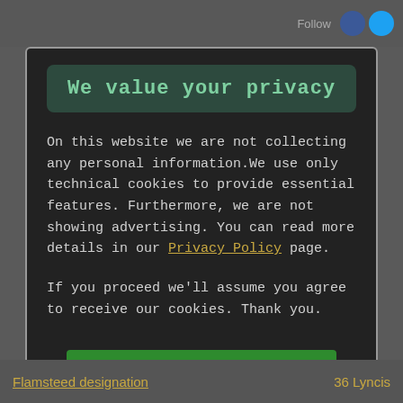Follow
We value your privacy
On this website we are not collecting any personal information.We use only technical cookies to provide essential features. Furthermore, we are not showing advertising. You can read more details in our Privacy Policy page.
If you proceed we'll assume you agree to receive our cookies. Thank you.
Proceed to TheSkyLive.com
Flamsteed designation   36 Lyncis